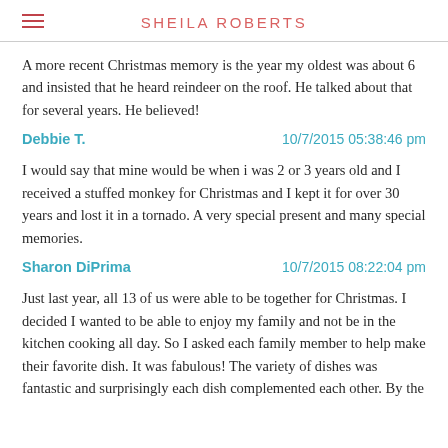SHEILA ROBERTS
A more recent Christmas memory is the year my oldest was about 6 and insisted that he heard reindeer on the roof. He talked about that for several years. He believed!
Debbie T.    10/7/2015 05:38:46 pm
I would say that mine would be when i was 2 or 3 years old and I received a stuffed monkey for Christmas and I kept it for over 30 years and lost it in a tornado. A very special present and many special memories.
Sharon DiPrima    10/7/2015 08:22:04 pm
Just last year, all 13 of us were able to be together for Christmas. I decided I wanted to be able to enjoy my family and not be in the kitchen cooking all day. So I asked each family member to help make their favorite dish. It was fabulous! The variety of dishes was fantastic and surprisingly each dish complemented each other. By the